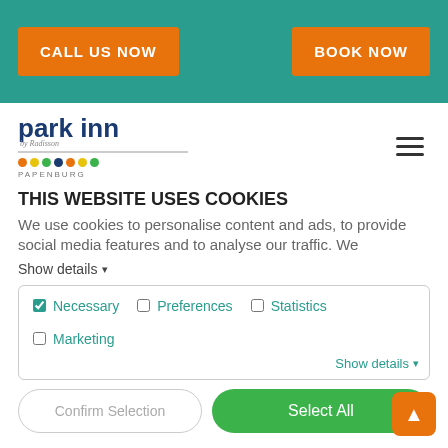CALL US NOW | BOOK NOW
[Figure (logo): Park Inn by Radisson Papenburg logo with colorful dots and horizontal rule]
THIS WEBSITE USES COOKIES
We use cookies to personalise content and ads, to provide social media features and to analyse our traffic. We
Show details
Necessary  Preferences  Statistics  Marketing  Show details
Confirm Selection   Select All